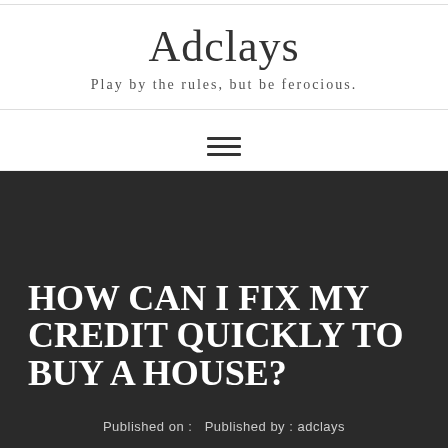Adclays
Play by the rules, but be ferocious.
HOW CAN I FIX MY CREDIT QUICKLY TO BUY A HOUSE?
Published on :   Published by : adclays